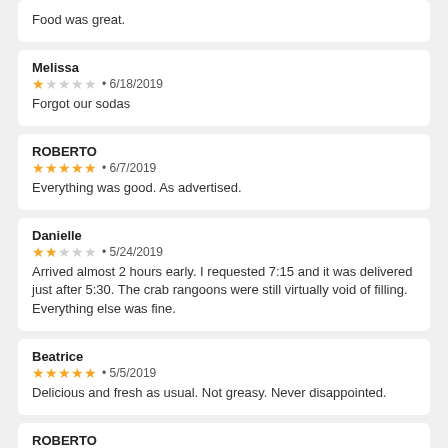Food was great.
Melissa • 6/18/2019 1 star. Forgot our sodas
ROBERTO • 6/7/2019 5 stars. Everything was good. As advertised.
Danielle • 5/24/2019 2 stars. Arrived almost 2 hours early. I requested 7:15 and it was delivered just after 5:30. The crab rangoons were still virtually void of filling. Everything else was fine.
Beatrice • 5/5/2019 5 stars. Delicious and fresh as usual. Not greasy. Never disappointed.
ROBERTO • 4/22/2019 5 stars. Everything i ordered was exact. Easy to navigate the app, fast delivery, no complaints here.